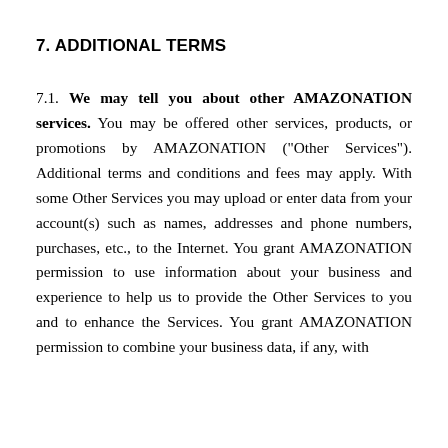7. ADDITIONAL TERMS
7.1. We may tell you about other AMAZONATION services. You may be offered other services, products, or promotions by AMAZONATION ("Other Services"). Additional terms and conditions and fees may apply. With some Other Services you may upload or enter data from your account(s) such as names, addresses and phone numbers, purchases, etc., to the Internet. You grant AMAZONATION permission to use information about your business and experience to help us to provide the Other Services to you and to enhance the Services. You grant AMAZONATION permission to combine your business data, if any, with